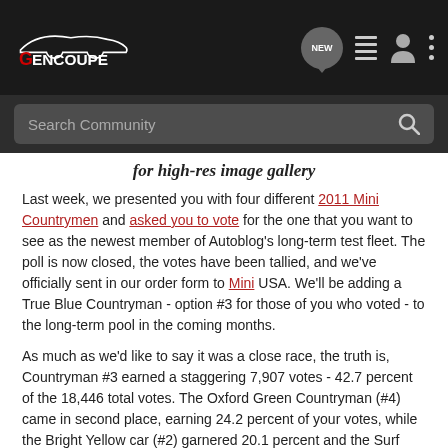GenCoupe navigation bar with logo and icons
Search Community
for high-res image gallery
Last week, we presented you with four different 2011 Mini Countrymen and asked you to vote for the one that you want to see as the newest member of Autoblog's long-term test fleet. The poll is now closed, the votes have been tallied, and we've officially sent in our order form to Mini USA. We'll be adding a True Blue Countryman - option #3 for those of you who voted - to the long-term pool in the coming months.
As much as we'd like to say it was a close race, the truth is, Countryman #3 earned a staggering 7,907 votes - 42.7 percent of the 18,446 total votes. The Oxford Green Countryman (#4) came in second place, earning 24.2 percent of your votes, while the Bright Yellow car (#2) garnered 20.1 percent and the Surf Blue Countryman (#1) brought up the rear with 13.9 percent.